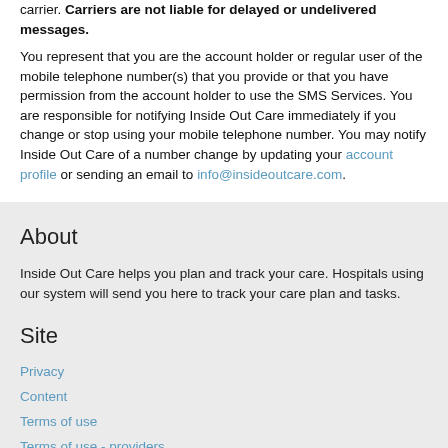carrier. Carriers are not liable for delayed or undelivered messages.
You represent that you are the account holder or regular user of the mobile telephone number(s) that you provide or that you have permission from the account holder to use the SMS Services. You are responsible for notifying Inside Out Care immediately if you change or stop using your mobile telephone number. You may notify Inside Out Care of a number change by updating your account profile or sending an email to info@insideoutcare.com.
About
Inside Out Care helps you plan and track your care. Hospitals using our system will send you here to track your care plan and tasks.
Site
Privacy
Content
Terms of use
Terms of use - providers